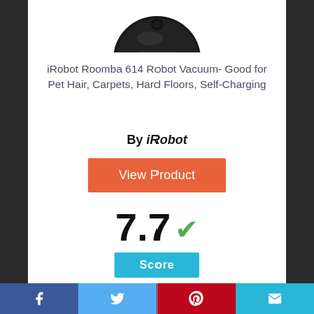[Figure (photo): Top portion of a round black iRobot Roomba 614 robot vacuum seen from above, cropped at top of page]
iRobot Roomba 614 Robot Vacuum- Good for Pet Hair, Carpets, Hard Floors, Self-Charging
By iRobot
View Product
7.7
Score
[Figure (other): Partial view of a circular gauge/donut chart showing the number 7 at the bottom of the page]
Facebook | Twitter | Pinterest | Email